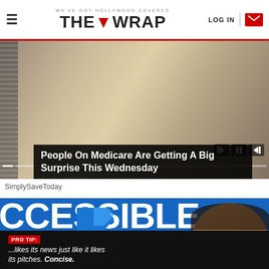WE'VE GOT HOLLYWOOD COVERED — THE WRAP — LOG IN
[Figure (photo): Hand holding papers/mail, with media player controls overlay and dot navigation indicators]
People On Medicare Are Getting A Big Surprise This Wednesday
SimplySaveToday
[Figure (screenshot): Blue background with large white text reading CCESSIBLE INTERNET with a blue arrow logo and woman's photo, plus a dark ad bar at bottom reading PRO TIP: ...likes its news just like it likes its pitches. Concise.]